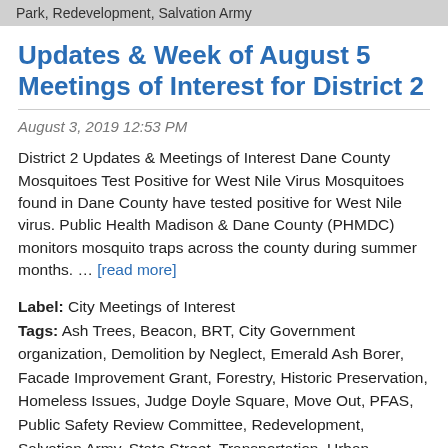Park, Redevelopment, Salvation Army
Updates & Week of August 5 Meetings of Interest for District 2
August 3, 2019 12:53 PM
District 2 Updates & Meetings of Interest Dane County Mosquitoes Test Positive for West Nile Virus Mosquitoes found in Dane County have tested positive for West Nile virus. Public Health Madison & Dane County (PHMDC) monitors mosquito traps across the county during summer months. … [read more]
Label: City Meetings of Interest
Tags: Ash Trees, Beacon, BRT, City Government organization, Demolition by Neglect, Emerald Ash Borer, Facade Improvement Grant, Forestry, Historic Preservation, Homeless Issues, Judge Doyle Square, Move Out, PFAS, Public Safety Review Committee, Redevelopment, Salvation Army, State Street, Transportation, Urban Forestry